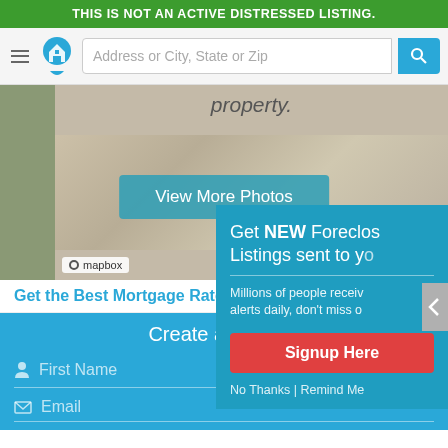THIS IS NOT AN ACTIVE DISTRESSED LISTING.
[Figure (screenshot): Navigation bar with hamburger menu, home logo icon, address search input field, and blue search button]
[Figure (photo): Aerial map/photo of property with View More Photos button overlay and mapbox label]
Get the Best Mortgage Rate for
Create a Free Account
First Name
Last Name
Email
[Figure (screenshot): Popup overlay: Get NEW Foreclosure Listings sent to you. Millions of people receive alerts daily, don't miss out. Signup Here button. No Thanks | Remind Me links.]